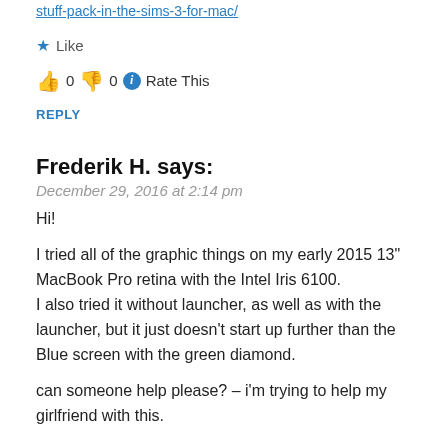http://vreeburgame.com/manually-uninstalling-an-expansion-or-stuff-pack-in-the-sims-3-for-mac/
★ Like
👍 0 👎 0 ℹ Rate This
REPLY
Frederik H. says:
December 29, 2016 at 2:14 pm
Hi!

I tried all of the graphic things on my early 2015 13" MacBook Pro retina with the Intel Iris 6100.
I also tried it without launcher, as well as with the launcher, but it just doesn't start up further than the Blue screen with the green diamond.

can someone help please? – i'm trying to help my girlfriend with this.